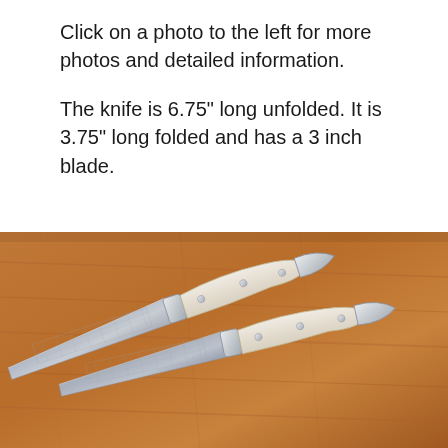Click on a photo to the left for more photos and detailed information.
The knife is 6.75" long unfolded. It is 3.75" long folded and has a 3 inch blade.
[Figure (photo): Two folding pocket knives with white/ivory handles and patterned steel blades laid open on a warm brown wooden surface.]